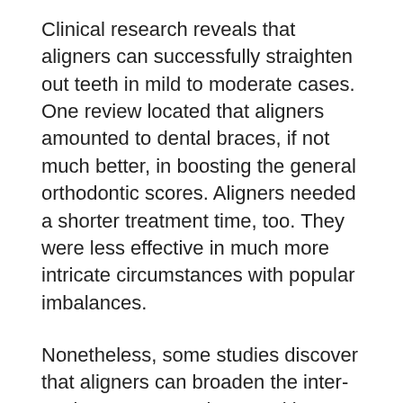Clinical research reveals that aligners can successfully straighten out teeth in mild to moderate cases. One review located that aligners amounted to dental braces, if not much better, in boosting the general orthodontic scores. Aligners needed a shorter treatment time, too. They were less effective in much more intricate circumstances with popular imbalances.
Nonetheless, some studies discover that aligners can broaden the inter-canine area more than steel braces, and widen the area in between molars equally as efficiently. Enhanced inter-canine width offers your incisors (front teeth) more room, assisting to ease a jampacked mouth [1]